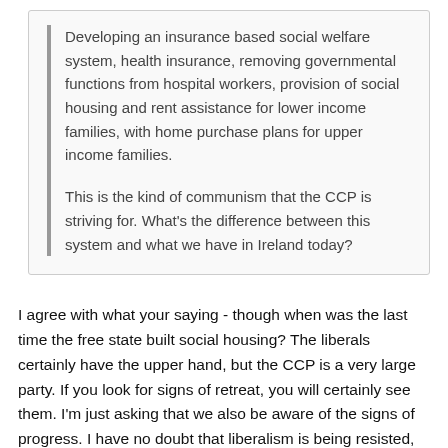Developing an insurance based social welfare system, health insurance, removing governmental functions from hospital workers, provision of social housing and rent assistance for lower income families, with home purchase plans for upper income families.
This is the kind of communism that the CCP is striving for.  What's the difference between this system and what we have in Ireland today?
I agree with what your saying - though when was the last time the free state built social housing?  The liberals certainly have the upper hand, but the CCP is a very large party.  If you look for signs of retreat, you will certainly see them.  I'm just asking that we also be aware of the signs of progress.  I have no doubt that liberalism is being resisted, and we should be aware of that resistance and support it.